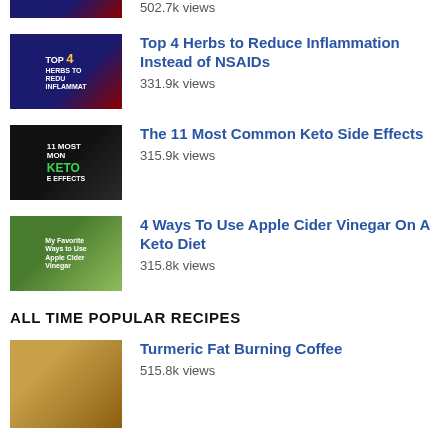502.7k views
Top 4 Herbs to Reduce Inflammation Instead of NSAIDs
331.9k views
The 11 Most Common Keto Side Effects
315.9k views
4 Ways To Use Apple Cider Vinegar On A Keto Diet
315.8k views
ALL TIME POPULAR RECIPES
Turmeric Fat Burning Coffee
515.8k views